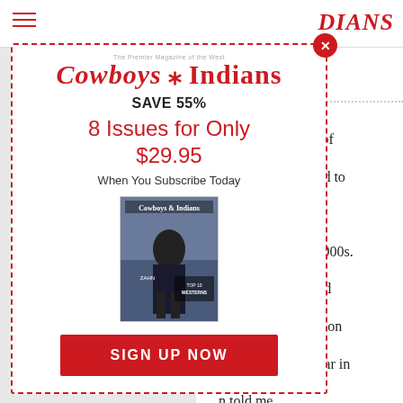[Figure (screenshot): Browser page with Cowboys & Indians magazine subscription modal popup overlaying an article. The modal has a dashed red border, shows the Cowboys & Indians logo, SAVE 55%, 8 Issues for Only $29.95, When You Subscribe Today, a magazine cover image, and a red SIGN UP NOW button. Behind it is the website header with hamburger menu, Cowboys & Indians logo, and article text partially visible on the right.]